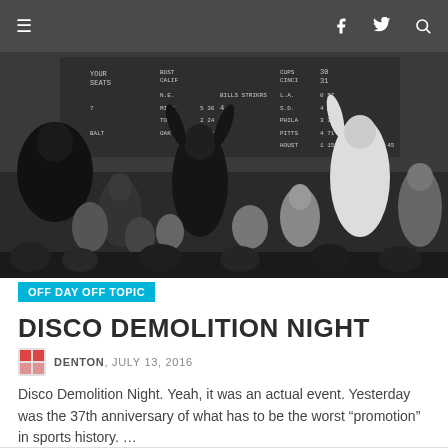Navigation bar with hamburger menu, Facebook, Twitter, Search icons
[Figure (photo): Black and white photograph of a crowd at a baseball stadium with fans raising fists, scoreboard visible in background — Disco Demolition Night]
OFF DAY OFF TOPIC
DISCO DEMOLITION NIGHT
DENTON, JULY 13, 2016
Disco Demolition Night. Yeah, it was an actual event. Yesterday was the 37th anniversary of what has to be the worst “promotion” in sports history. …
Read more ›
0 Comments